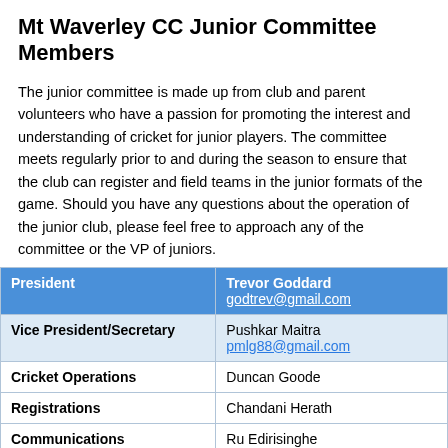Mt Waverley CC Junior Committee Members
The junior committee is made up from club and parent volunteers who have a passion for promoting the interest and understanding of cricket for junior players. The committee meets regularly prior to and during the season to ensure that the club can register and field teams in the junior formats of the game. Should you have any questions about the operation of the junior club, please feel free to approach any of the committee or the VP of juniors.
| Role | Person |
| --- | --- |
| President | Trevor Goddard
godtrev@gmail.com |
| Vice President/Secretary | Pushkar Maitra
pmlg88@gmail.com |
| Cricket Operations | Duncan Goode |
| Registrations | Chandani Herath |
| Communications | Ru Edirisinghe |
| Age group Coordinators | U11: Nicole Mardell
U13: Madhu Narasimha
U15: Mahesha Amarasekara
U17: Declan Green |